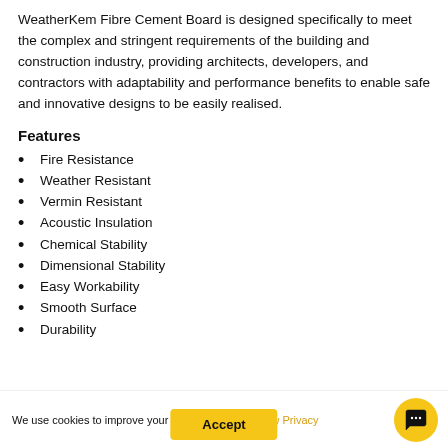WeatherKem Fibre Cement Board is designed specifically to meet the complex and stringent requirements of the building and construction industry, providing architects, developers, and contractors with adaptability and performance benefits to enable safe and innovative designs to be easily realised.
Features
Fire Resistance
Weather Resistant
Vermin Resistant
Acoustic Insulation
Chemical Stability
Dimensional Stability
Easy Workability
Smooth Surface
Durability
We use cookies to improve your user experience. View Privacy  Accept